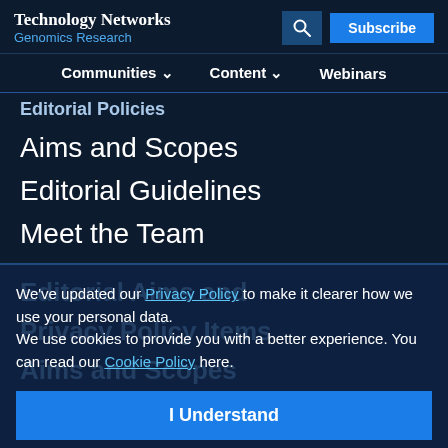Technology Networks Genomics Research
Communities  Content  Webinars
Editorial Policies
Aims and Scopes
Editorial Guidelines
Meet the Team
We've updated our Privacy Policy to make it clearer how we use your personal data.
We use cookies to provide you with a better experience. You can read our Cookie Policy here.
I Understand
Advertisement
[Figure (other): ThermoFisher Scientific advertisement banner with text: Do you use qPCR and dPCR to develop biologics? Explore now. Applied Biosystems logo.]